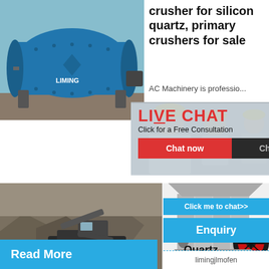[Figure (photo): Blue industrial ball mill / grinding machine (LIMING brand) outdoors]
crusher for silicon quartz, primary crushers for sale
AC Machinery is professio...
Read More
[Figure (photo): Live chat overlay with workers in yellow hard hats. Bold red text: LIVE CHAT. Subtitle: Click for a Free Consultation. Buttons: Chat now (red), Chat later (dark).]
hour online
[Figure (photo): Heavy excavator / mining machine working in quarry]
of Phase Transformation Quartz
2021-11-...
[Figure (photo): Industrial jaw crusher machine, grey with red flywheel]
Click me to chat>>
Enquiry
Read More
limingjlmofen